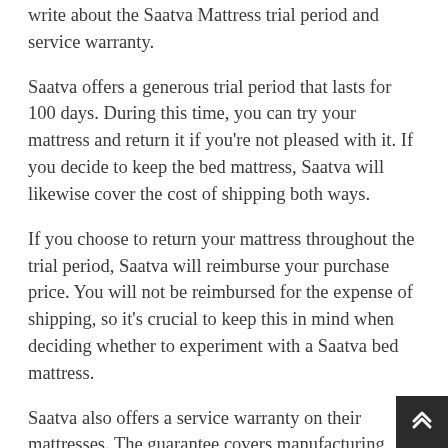write about the Saatva Mattress trial period and service warranty.
Saatva offers a generous trial period that lasts for 100 days. During this time, you can try your mattress and return it if you're not pleased with it. If you decide to keep the bed mattress, Saatva will likewise cover the cost of shipping both ways.
If you choose to return your mattress throughout the trial period, Saatva will reimburse your purchase price. You will not be reimbursed for the expense of shipping, so it's crucial to keep this in mind when deciding whether to experiment with a Saatva bed mattress.
Saatva also offers a service warranty on their mattresses. The guarantee covers manufacturing defects and lasts for 15 years. This is among the longest warranties in the market, so you can be sure